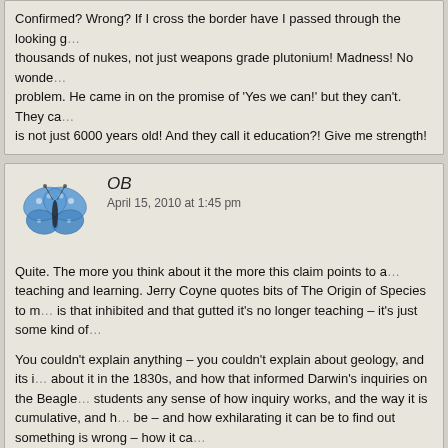Confirmed? Wrong? If I cross the border have I passed through the looking g... thousands of nukes, not just weapons grade plutonium! Madness! No wonde... problem. He came in on the promise of 'Yes we can!' but they can't. They ca... is not just 6000 years old! And they call it education?! Give me strength!
OB
April 15, 2010 at 1:45 pm
Quite. The more you think about it the more this claim points to a... teaching and learning. Jerry Coyne quotes bits of The Origin of Species to m... is that inhibited and that gutted it's no longer teaching – it's just some kind of...
You couldn't explain anything – you couldn't explain about geology, and its i... about it in the 1830s, and how that informed Darwin's inquiries on the Beagle... students any sense of how inquiry works, and the way it is cumulative, and h... be – and how exhilarating it can be to find out something is wrong – how it ca...
Oh it's all so idiotic and pathetic – the Center for Inquiry for christ's sake.
Jenavir
April 15, 2010 at 2:06 pm